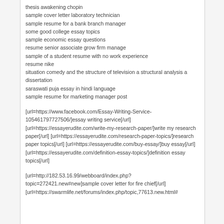thesis awakening chopin
sample cover letter laboratory technician
sample resume for a bank branch manager
some good college essay topics
sample economic essay questions
resume senior associate grow firm manage
sample of a student resume with no work experience
resume nike
situation comedy and the structure of television a structural analysis a dissertation
saraswati puja essay in hindi language
sample resume for marketing manager post
[url=https://www.facebook.com/Essay-Writing-Service-105461797727506/]essay writing service[/url] [url=https://essayerudite.com/write-my-research-paper/]write my research paper[/url] [url=https://essayerudite.com/research-paper-topics/]research paper topics[/url] [url=https://essayerudite.com/buy-essay/]buy essay[/url] [url=https://essayerudite.com/definition-essay-topics/]definition essay topics[/url]
[url=http://182.53.16.99/webboard/index.php?topic=272421.new#new]sample cover letter for fire chief[/url] [url=https://swarmlife.net/forums/index.php/topic,77613.new.html#